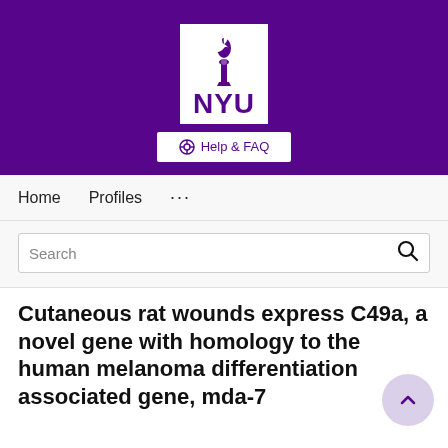[Figure (logo): NYU logo: white box with purple torch/flame icon above bold NYU text, set on purple banner background with Help & FAQ button below]
Home   Profiles   ...
Search
Cutaneous rat wounds express C49a, a novel gene with homology to the human melanoma differentiation associated gene, mda-7